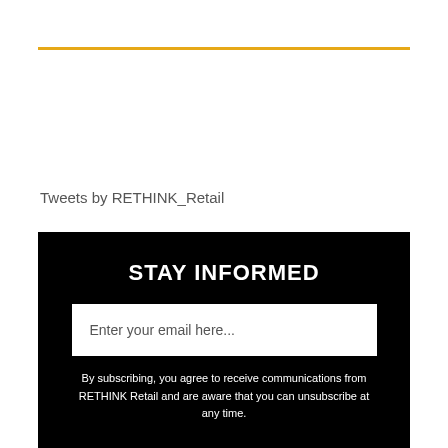Tweets by RETHINK_Retail
STAY INFORMED
Enter your email here...
By subscribing, you agree to receive communications from RETHINK Retail and are aware that you can unsubscribe at any time.